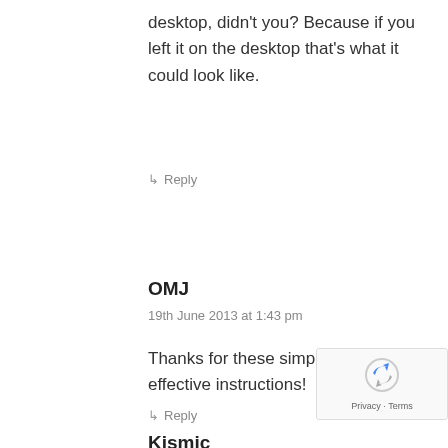desktop, didn't you? Because if you left it on the desktop that's what it could look like.
↳ Reply
OMJ
19th June 2013 at 1:43 pm
Thanks for these simple and effective instructions!
↳ Reply
Kismic
[Figure (other): reCAPTCHA widget with Privacy and Terms links]